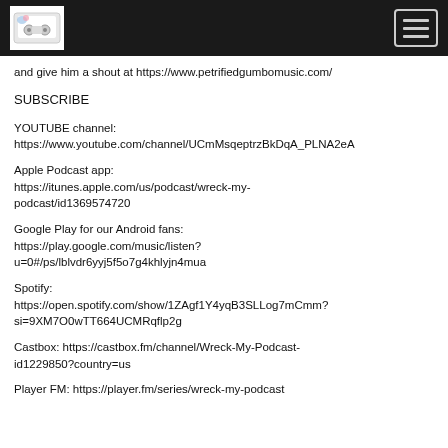[Logo] [Hamburger menu button]
and give him a shout at https://www.petrifiedgumbomusic.com/
SUBSCRIBE
YOUTUBE channel:
https://www.youtube.com/channel/UCmMsqeptrzBkDqA_PLNA2eA
Apple Podcast app:
https://itunes.apple.com/us/podcast/wreck-my-podcast/id1369574720
Google Play for our Android fans:
https://play.google.com/music/listen?u=0#/ps/lblvdr6yyj5f5o7g4khlyjn4mua
Spotify:
https://open.spotify.com/show/1ZAgf1Y4yqB3SLLog7mCmm?si=9XM7O0wTT664UCMRqflp2g
Castbox: https://castbox.fm/channel/Wreck-My-Podcast-id1229850?country=us
Player FM: https://player.fm/series/wreck-my-podcast